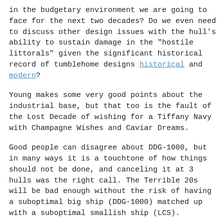in the budgetary environment we are going to face for the next two decades? Do we even need to discuss other design issues with the hull's ability to sustain damage in the "hostile littorals" given the significant historical record of tumblehome designs historical and modern?
Young makes some very good points about the industrial base, but that too is the fault of the Lost Decade of wishing for a Tiffany Navy with Champagne Wishes and Caviar Dreams.
Good people can disagree about DDG-1000, but in many ways it is a touchtone of how things should not be done, and canceling it at 3 hulls was the right call. The Terrible 20s will be bad enough without the risk of having a suboptimal big ship (DDG-1000) matched up with a suboptimal smallish ship (LCS).